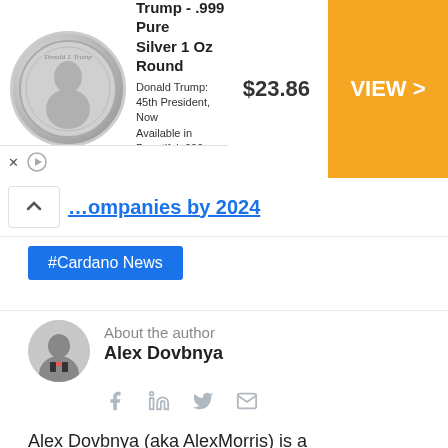[Figure (other): Advertisement banner for President Trump .999 Pure Silver 1 Oz Round coin showing coin image, price $23.86, and orange VIEW > button from Money Metals Exchange]
companies by 2024
#Cardano News
About the author
Alex Dovbnya
Alex Dovbnya (aka AlexMorris) is a cryptocurrency expert, trader and journalist with extensive experience of covering everything related to the burgeoning industry — from price analysis to Blockchain disruption. Alex authored more than 1,000 stories for U.Today, CryptoGames and other fintech media